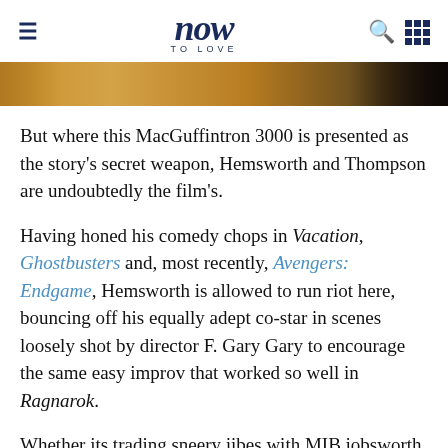now TO LOVE
[Figure (photo): Desert sand dune scene with dark shadowed foreground, partial crop of a figure or object at the top of the image]
But where this MacGuffintron 3000 is presented as the story's secret weapon, Hemsworth and Thompson are undoubtedly the film's.
Having honed his comedy chops in Vacation, Ghostbusters and, most recently, Avengers: Endgame, Hemsworth is allowed to run riot here, bouncing off his equally adept co-star in scenes loosely shot by director F. Gary Gary to encourage the same easy improv that worked so well in Ragnarok.
Whether its trading sneery jibes with MIB jobsworth Agent C (Rafe Spall), or — in a post-fight sulk —